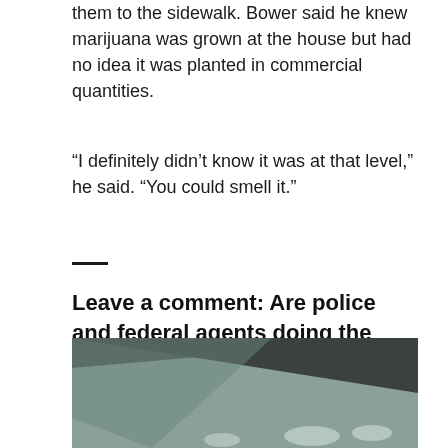them to the sidewalk. Bower said he knew marijuana was grown at the house but had no idea it was planted in commercial quantities.
“I definitely didn’t know it was at that level,” he said. “You could smell it.”
Leave a comment: Are police and federal agents doing the right thing by cracking down on illicit grows in Colorado? Why?
[Figure (photo): Partial view of what appears to be a flag or decorative image with dark gray and muted teal/sage colors, partially visible at the bottom of the page.]